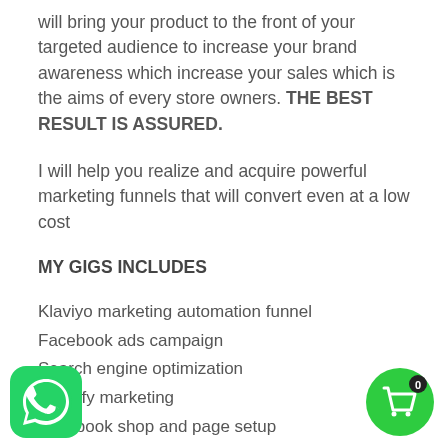will bring your product to the front of your targeted audience to increase your brand awareness which increase your sales which is the aims of every store owners. THE BEST RESULT IS ASSURED.
I will help you realize and acquire powerful marketing funnels that will convert even at a low cost
MY GIGS INCLUDES
Klaviyo marketing automation funnel
Facebook ads campaign
Search engine optimization
Shopify marketing
Facebook shop and page setup
mmerce marketing
pify store set up
[Figure (logo): WhatsApp icon in bottom-left corner]
[Figure (logo): Shopping cart icon with badge showing 0 in bottom-right corner]